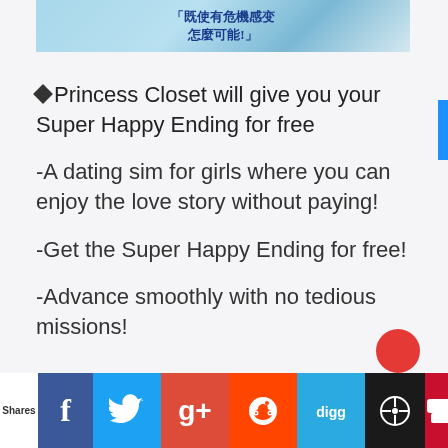[Figure (illustration): Anime-style illustration banner with Chinese text and blue/white color scheme]
◆Princess Closet will give you your Super Happy Ending for free
-A dating sim for girls where you can enjoy the love story without paying!
-Get the Super Happy Ending for free!
-Advance smoothly with no tedious missions!
Shares | Facebook | Twitter | Google+ | Reddit | Digg | WordPress | Crown